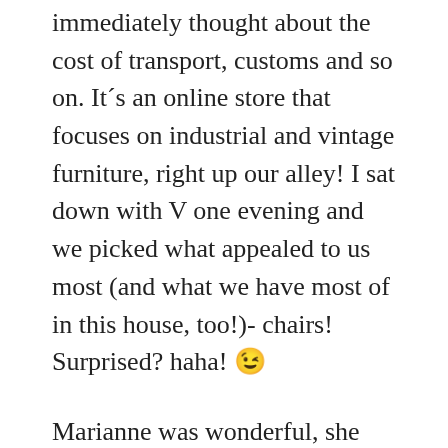immediately thought about the cost of transport, customs and so on. It´s an online store that focuses on industrial and vintage furniture, right up our alley! I sat down with V one evening and we picked what appealed to us most (and what we have most of in this house, too!)- chairs! Surprised? haha! 😉
Marianne was wonderful, she helped me with the shipping, answered all my questions and yesterday I got the second chair, too! Somehow they´d been separated on their way and I didn´t receive them together. So happy with them! Take a look!